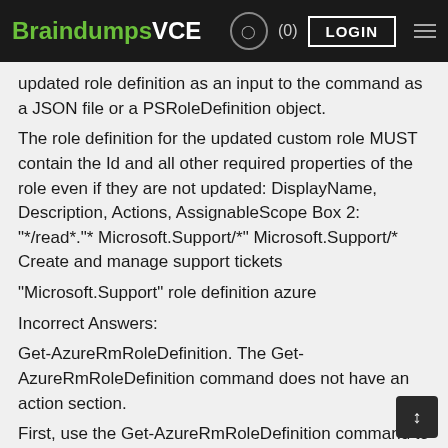BraindumpsVCE (0) LOGIN
updated role definition as an input to the command as a JSON file or a PSRoleDefinition object.
The role definition for the updated custom role MUST contain the Id and all other required properties of the role even if they are not updated: DisplayName, Description, Actions, AssignableScope Box 2: "*/read*."* Microsoft.Support/*" Microsoft.Support/* Create and manage support tickets
"Microsoft.Support" role definition azure
Incorrect Answers:
Get-AzureRmRoleDefinition. The Get-AzureRmRoleDefinition command does not have an action section.
First, use the Get-AzureRmRoleDefinition command to retrieve the custom role that you wish to modify. Then, modify the properties that you wish to change. Finally, save the role definition using the Set-AzureRmRoleDefinition command.
References: